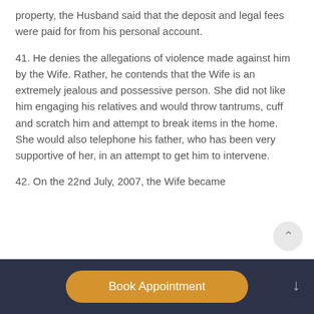property, the Husband said that the deposit and legal fees were paid for from his personal account.
41. He denies the allegations of violence made against him by the Wife. Rather, he contends that the Wife is an extremely jealous and possessive person. She did not like him engaging his relatives and would throw tantrums, cuff and scratch him and attempt to break items in the home. She would also telephone his father, who has been very supportive of her, in an attempt to get him to intervene.
42. On the 22nd July, 2007, the Wife became